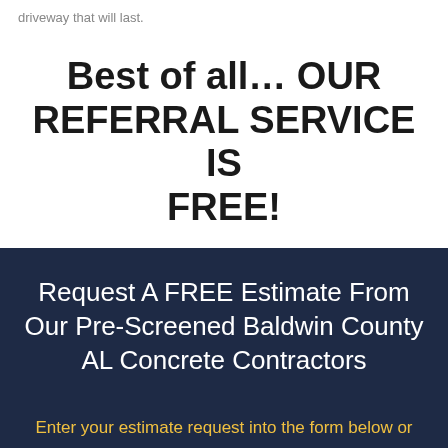driveway that will last.
Best of all… OUR REFERRAL SERVICE IS FREE!
Request A FREE Estimate From Our Pre-Screened Baldwin County AL Concrete Contractors
Enter your estimate request into the form below or